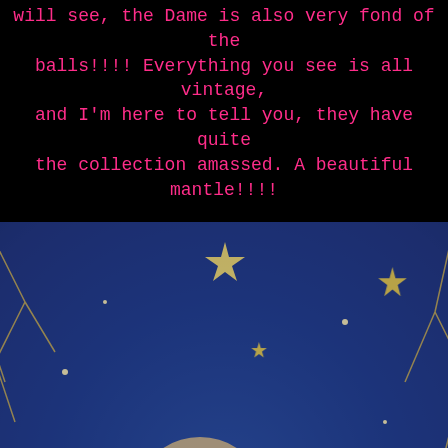will see, the Dame is also very fond of the balls!!!! Everything you see is all vintage, and I'm here to tell you, they have quite the collection amassed. A beautiful mantle!!!!
[Figure (photo): A vintage-style fairy doll decoration with golden/teal tones, surrounded by glittery branches, stars, and Christmas ornaments. The fairy has a crown and wings, holding a dark ornament ball, with warm glowing light at the base.]